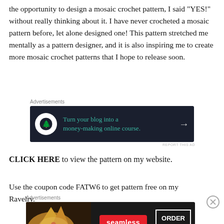the opportunity to design a mosaic crochet pattern, I said "YES!" without really thinking about it. I have never crocheted a mosaic pattern before, let alone designed one! This pattern stretched me mentally as a pattern designer, and it is also inspiring me to create more mosaic crochet patterns that I hope to release soon.
[Figure (other): Advertisement banner: dark background with circle icon and text 'Turn your blog into a money-making online course.' with arrow]
CLICK HERE to view the pattern on my website.
Use the coupon code FATW6 to get pattern free on my Ravelry.
[Figure (other): Advertisement banner: Seamless food delivery ad with pizza image, Seamless logo and ORDER NOW button]